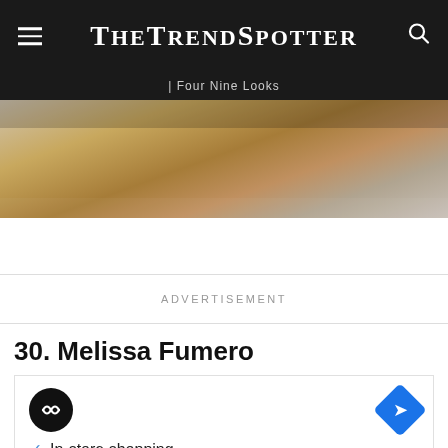TheTrendSpotter
| Four Nine Looks
[Figure (photo): Partial photo of a person sitting cross-legged wearing mustard/ochre trousers and a grey patterned top]
ADVERTISEMENT
30. Melissa Fumero
[Figure (screenshot): Advertisement box with a black circular logo with infinity-like symbol, a blue diamond navigation icon, a checkmark with 'In-store shopping' text, and small play and X icons]